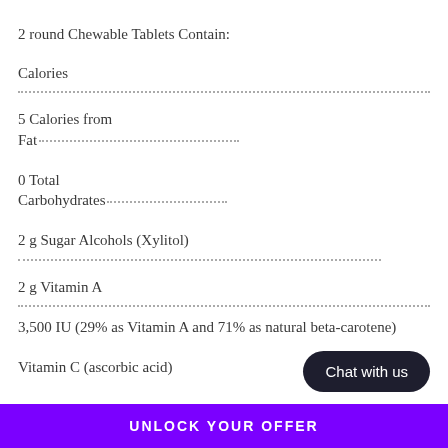2 round Chewable Tablets Contain:
Calories
5 Calories from Fat
0 Total Carbohydrates
2 g Sugar Alcohols (Xylitol)
2 g Vitamin A
3,500 IU (29% as Vitamin A and 71% as natural beta-carotene)
Vitamin C (ascorbic acid)
Chat with us
UNLOCK YOUR OFFER